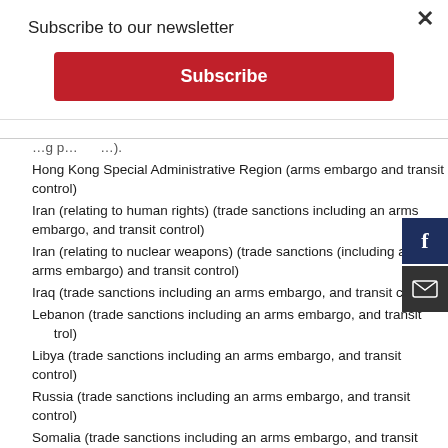Subscribe to our newsletter
Subscribe
Hong Kong Special Administrative Region (arms embargo and transit control)
Iran (relating to human rights) (trade sanctions including an arms embargo, and transit control)
Iran (relating to nuclear weapons) (trade sanctions (including an arms embargo) and transit control)
Iraq (trade sanctions including an arms embargo, and transit control)
Lebanon (trade sanctions including an arms embargo, and transit control)
Libya (trade sanctions including an arms embargo, and transit control)
Russia (trade sanctions including an arms embargo, and transit control)
Somalia (trade sanctions including an arms embargo, and transit control)
South Sudan (trade sanctions including an arms embargo, and transit control)
Sudan (trade sanctions including an arms embargo, and transit